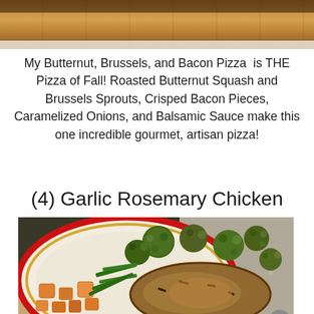[Figure (photo): Top portion of a food photo, cropped, showing warm brown/orange tones of a wooden surface or pizza]
My Butternut, Brussels, and Bacon Pizza  is THE Pizza of Fall! Roasted Butternut Squash and Brussels Sprouts, Crisped Bacon Pieces, Caramelized Onions, and Balsamic Sauce make this one incredible gourmet, artisan pizza!
(4) Garlic Rosemary Chicken
[Figure (photo): Plate of food on a decorative plate with red and gold border, containing roasted brussels sprouts, butternut squash cubes, green beans, and garlic rosemary chicken, placed on a light wood surface with granite counter in background]
Advertisements